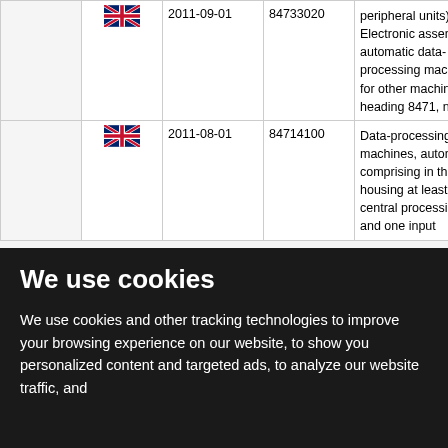|  |  | Date | Code | Description |
| --- | --- | --- | --- | --- |
|  | 🇬🇧 | 2011-09-01 | 84733020 | Electronic assemblies of automatic data-processing machines or for other machines of heading 8471, n.e.s. |
|  | 🇬🇧 | 2011-08-01 | 84714100 | Data-processing machines, automatic, comprising in the same housing at least a central processing unit, and one input |
We use cookies
We use cookies and other tracking technologies to improve your browsing experience on our website, to show you personalized content and targeted ads, to analyze our website traffic, and